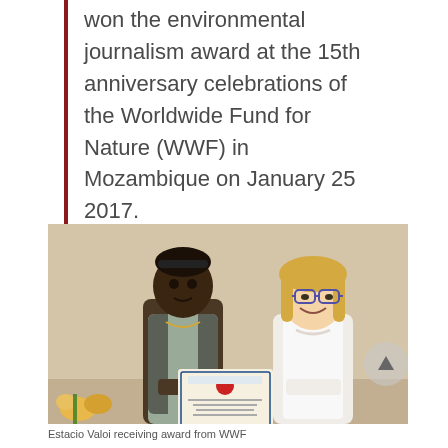won the environmental journalism award at the 15th anniversary celebrations of the Worldwide Fund for Nature (WWF) in Mozambique on January 25 2017.
[Figure (photo): Two people standing together, one holding a certificate/award. A man on the left wearing a grey vest over a light shirt, and a woman on the right with blonde hair and glasses wearing a white blouse.]
Estacio Valoi receiving award from WWF